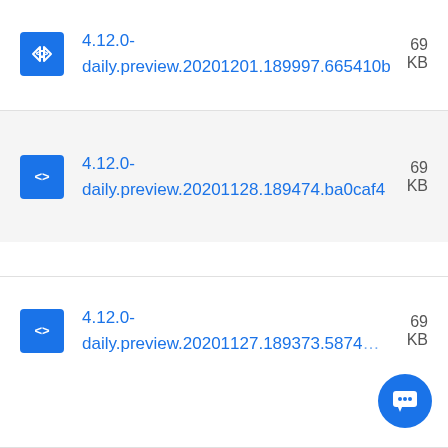4.12.0-daily.preview.20201201.189997.665410b  69... KB
4.12.0-daily.preview.20201128.189474.ba0caf4  69... KB
4.12.0-daily.preview.20201127.189373.5874...  KB